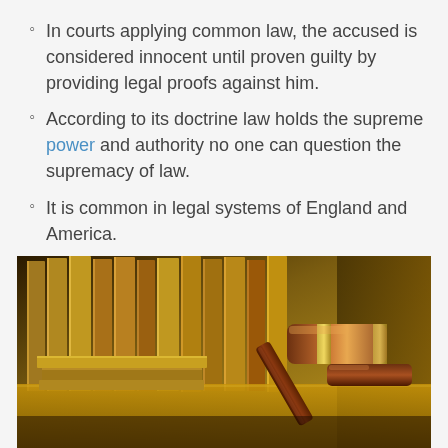In courts applying common law, the accused is considered innocent until proven guilty by providing legal proofs against him.
According to its doctrine law holds the supreme power and authority no one can question the supremacy of law.
It is common in legal systems of England and America.
[Figure (photo): A gavel resting on a wooden surface beside stacked law books, with a warm golden background — a legal/court setting.]